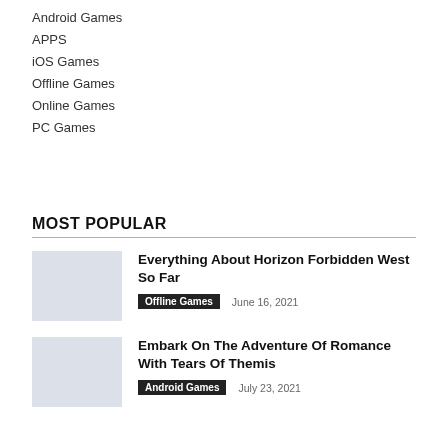Android Games
APPS
iOS Games
Offline Games
Online Games
PC Games
MOST POPULAR
Everything About Horizon Forbidden West So Far | Offline Games | June 16, 2021
Embark On The Adventure Of Romance With Tears Of Themis | Android Games | July 23, 2021